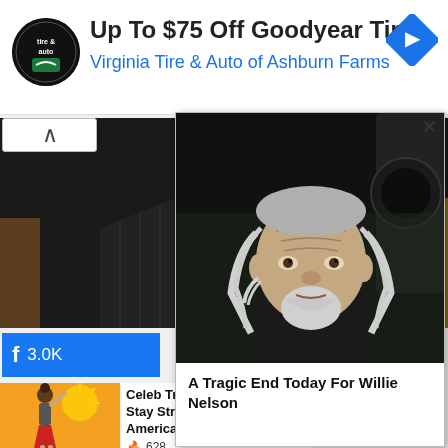[Figure (screenshot): Ad banner for Virginia Tire & Auto with circular logo, text 'Up To $75 Off Goodyear Tires' and 'Virginia Tire & Auto of Ashburn Farms', and a blue diamond navigation arrow icon]
Up To $75 Off Goodyear Tires
Virginia Tire & Auto of Ashburn Farms
[Figure (photo): Person in dark pinstripe suit with purple/red tie, photographed from chest up, formal setting]
[Figure (screenshot): Facebook like button showing 'f' and count '3.0K']
[Figure (illustration): Thumbnail image of illustrated woman stretching/exercising]
Celeb Trainer Stay Strong Americans
628
[Figure (photo): Overlay popup showing elderly man with long white/grey hair, beard, looking at camera — Willie Nelson]
A Tragic End Today For Willie Nelson